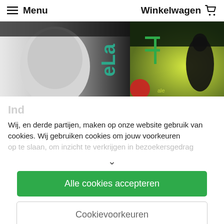Menu   Winkelwagen
[Figure (photo): Two side-by-side images: left shows a black-and-white photo of a smiling man with partial text overlay in teal, right shows a colorful scene with silhouettes on grass with red/yellow elements.]
Wij, en derde partijen, maken op onze website gebruik van cookies. Wij gebruiken cookies om jouw voorkeuren op te slaan, om inzicht te verkrijgen in bezoekersgedrag
Alle cookies accepteren
Cookievoorkeuren